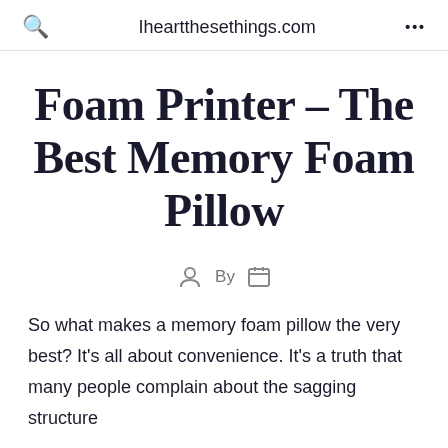Iheartthesethings.com
Foam Printer – The Best Memory Foam Pillow
By
So what makes a memory foam pillow the very best? It's all about convenience. It's a truth that many people complain about the sagging structure